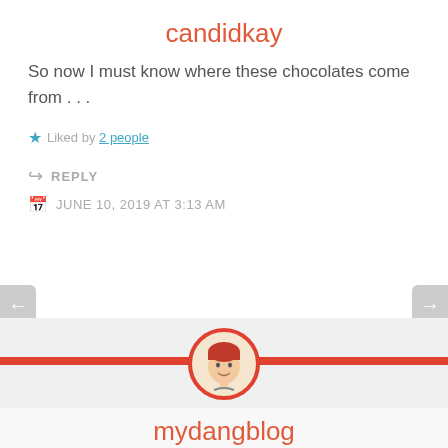candidkay
So now I must know where these chocolates come from . . .
Liked by 2 people
REPLY
JUNE 10, 2019 AT 3:13 AM
[Figure (illustration): Avatar illustration of a person with red hair inside a red circle, centered on a red horizontal divider bar]
mydangblog
From my mom mostly lol!
Liked by 1 person